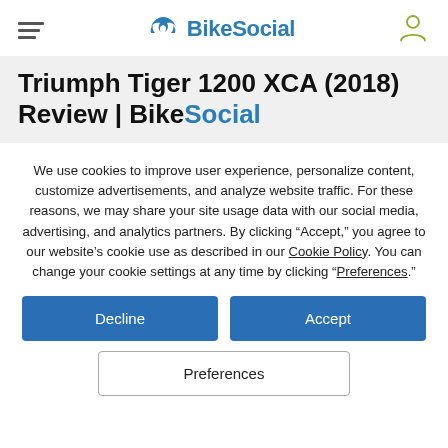BikeSocial
Triumph Tiger 1200 XCA (2018) Review | BikeSocial
We use cookies to improve user experience, personalize content, customize advertisements, and analyze website traffic. For these reasons, we may share your site usage data with our social media, advertising, and analytics partners. By clicking "Accept," you agree to our website's cookie use as described in our Cookie Policy. You can change your cookie settings at any time by clicking “Preferences.”
Decline
Accept
Preferences